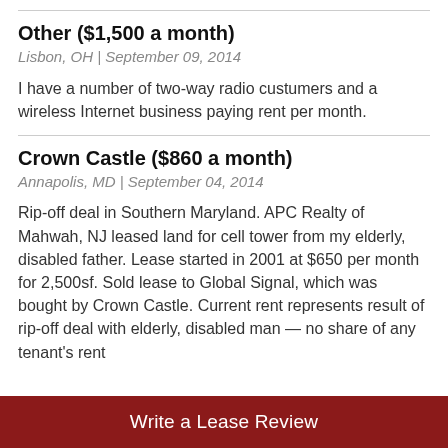Other ($1,500 a month)
Lisbon, OH | September 09, 2014
I have a number of two-way radio custumers and a wireless Internet business paying rent per month.
Crown Castle ($860 a month)
Annapolis, MD | September 04, 2014
Rip-off deal in Southern Maryland. APC Realty of Mahwah, NJ leased land for cell tower from my elderly, disabled father. Lease started in 2001 at $650 per month for 2,500sf. Sold lease to Global Signal, which was bought by Crown Castle. Current rent represents result of rip-off deal with elderly, disabled man — no share of any tenant's rent
Write a Lease Review